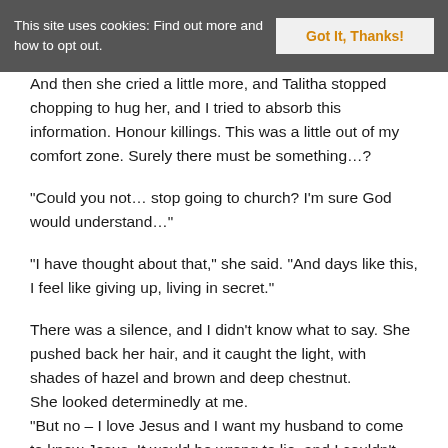This site uses cookies: Find out more and how to opt out. | Got It, Thanks!
And then she cried a little more, and Talitha stopped chopping to hug her, and I tried to absorb this information. Honour killings. This was a little out of my comfort zone. Surely there must be something…?
“Could you not… stop going to church? I’m sure God would understand…”
“I have thought about that,” she said. “And days like this, I feel like giving up, living in secret.”
There was a silence, and I didn’t know what to say. She pushed back her hair, and it caught the light, with shades of hazel and brown and deep chestnut.
She looked determinedly at me.
“But no – I love Jesus and I want my husband to come to know Jesus. It would be wrong to lie, and I couldn’t bring myself to deny Jesus, even to my husband. Peter’s letter gave me hope